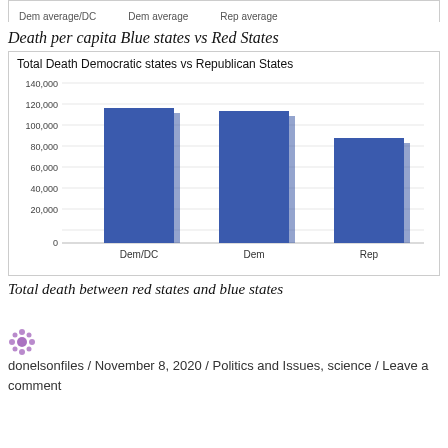| Dem average/DC | Dem average | Rep average |
| --- | --- | --- |
Death per capita Blue states vs Red States
[Figure (bar-chart): Total Death Democratic states vs Republican States]
Total death between red states and blue states
donelsonfiles / November 8, 2020 / Politics and Issues, science / Leave a comment